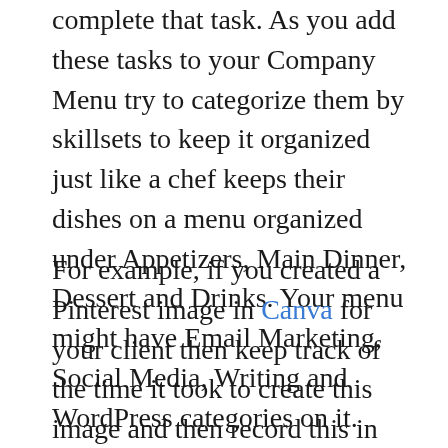complete that task. As you add these tasks to your Company Menu try to categorize them by skillsets to keep it organized just like a chef keeps their dishes on a menu organized under Appetizers, Main Dinner, Dessert and Drinks. Your menu might have Email Marketing, Social Media, Writing and WordPress categories on it.
For example, if you created a Pinterest image in Canva for your client then keep track of the time it took to create this image and then record this in your “Company Menu”. After a while, you’ll have a whole list of timed tasks on your “Company Menu” that you can then start adding prices to using this equation: Menu